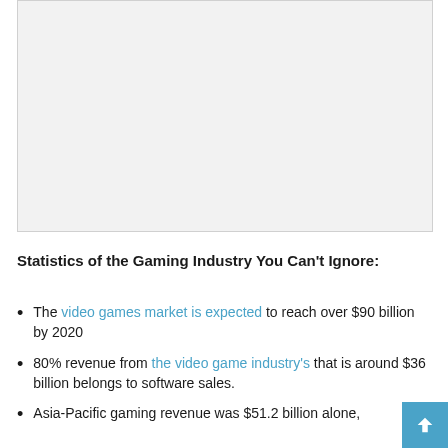[Figure (other): Light gray placeholder image area at the top of the page]
Statistics of the Gaming Industry You Can't Ignore:
The video games market is expected to reach over $90 billion by 2020
80% revenue from the video game industry's that is around $36 billion belongs to software sales.
Asia-Pacific gaming revenue was $51.2 billion alone,